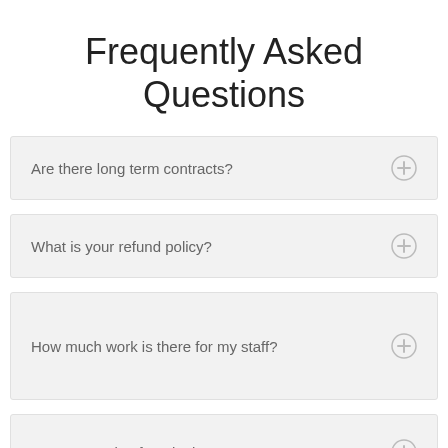Frequently Asked Questions
Are there long term contracts?
What is your refund policy?
How much work is there for my staff?
Can I upgrade after signing up?